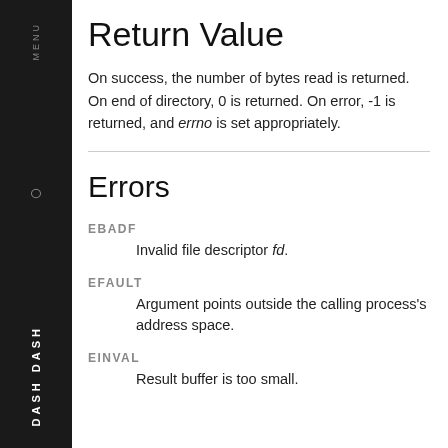Return Value
On success, the number of bytes read is returned. On end of directory, 0 is returned. On error, -1 is returned, and errno is set appropriately.
Errors
EBADF
Invalid file descriptor fd.
EFAULT
Argument points outside the calling process's address space.
EINVAL
Result buffer is too small.